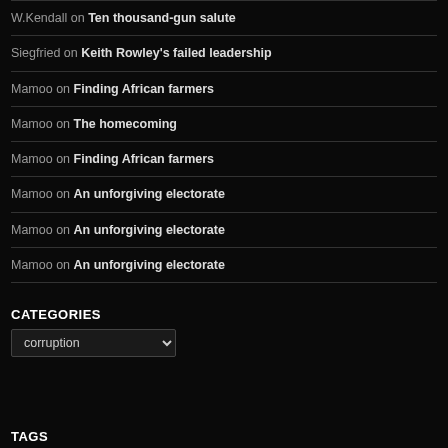W.Kendall on Ten thousand-gun salute
Siegfried on Keith Rowley's failed leadership
Mamoo on Finding African farmers
Mamoo on The homecoming
Mamoo on Finding African farmers
Mamoo on An unforgiving electorate
Mamoo on An unforgiving electorate
Mamoo on An unforgiving electorate
CATEGORIES
corruption
TAGS